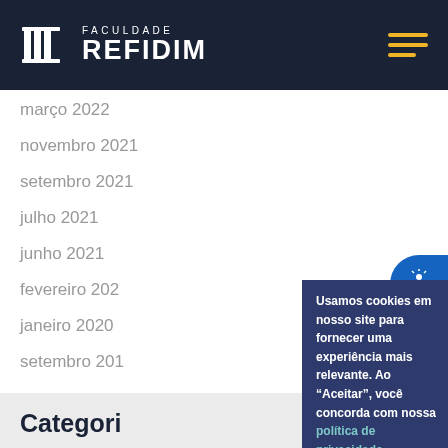[Figure (logo): Faculdade Refidim logo with column/book icon and text FACULDADE REFIDIM on dark navy header]
março 2022
novembro 2021
setembro 2021
julho 2021
junho 2021
fevereiro 2020
janeiro 2020
setembro 2019
Categorias
Usamos cookies em nosso site para fornecer uma experiência mais relevante. Ao "Aceitar", você concorda com nossa política de privacidade.
Config. de Cookies   ACEITAR